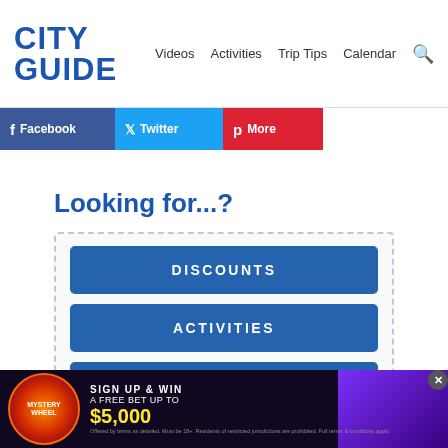CITY GUIDE — Videos  Activities  Trip Tips  Calendar
[Figure (screenshot): Social share buttons: Facebook (blue), Twitter (blue), More (red)]
Looking for...?
DISCOUNTS
ACTIVITIES
CALENDAR
[Figure (infographic): Advertisement banner: Mystery Wheel — Sign Up & Win A Free Bet Up To $5,000]